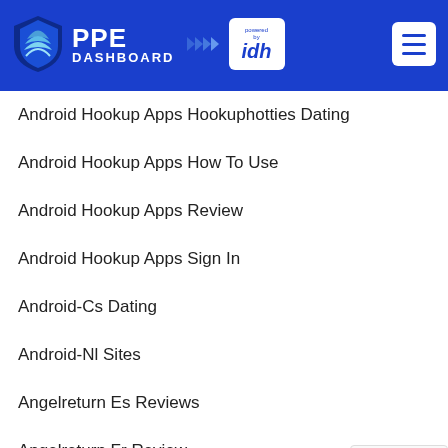[Figure (logo): PPE Dashboard logo with shield icon, powered by IDH badge, and hamburger menu on blue header background]
Android Hookup Apps Hookuphotties Dating
Android Hookup Apps How To Use
Android Hookup Apps Review
Android Hookup Apps Sign In
Android-Cs Dating
Android-Nl Sites
Angelreturn Es Reviews
Angelreturn Fr Review
Angelreturn Review